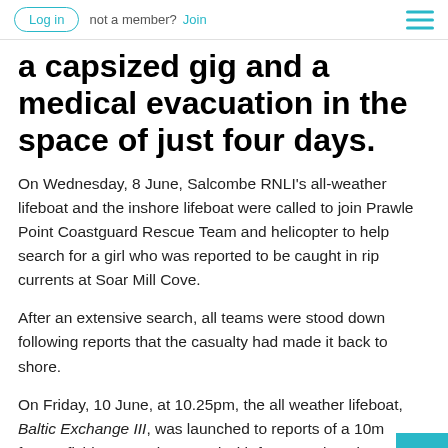Log in  not a member? Join
a capsized gig and a medical evacuation in the space of just four days.
On Wednesday, 8 June, Salcombe RNLI's all-weather lifeboat and the inshore lifeboat were called to join Prawle Point Coastguard Rescue Team and helicopter to help search for a girl who was reported to be caught in rip currents at Soar Mill Cove.
After an extensive search, all teams were stood down following reports that the casualty had made it back to shore.
On Friday, 10 June, at 10.25pm, the all weather lifeboat, Baltic Exchange III, was launched to reports of a 10m former fishing vessel aground with four people onboard including two children on Start Point...